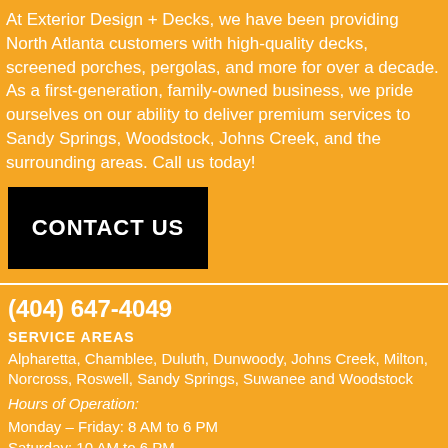At Exterior Design + Decks, we have been providing North Atlanta customers with high-quality decks, screened porches, pergolas, and more for over a decade. As a first-generation, family-owned business, we pride ourselves on our ability to deliver premium services to Sandy Springs, Woodstock, Johns Creek, and the surrounding areas. Call us today!
CONTACT US
(404) 647-4049
SERVICE AREAS
Alpharetta, Chamblee, Duluth, Dunwoody, Johns Creek, Milton, Norcross, Roswell, Sandy Springs, Suwanee and Woodstock
Hours of Operation:
Monday – Friday: 8 AM to 6 PM
Saturday: 10 AM to 6 PM
VIEW MAP